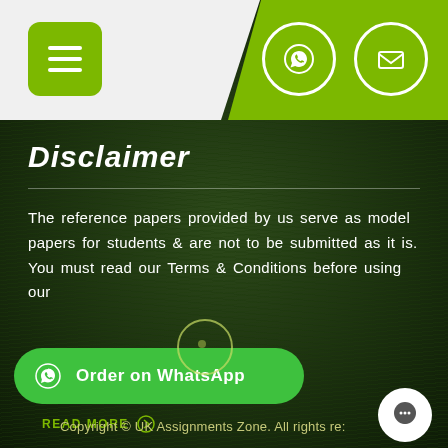Navigation bar with menu button, WhatsApp icon, and email icon
Disclaimer
The reference papers provided by us serve as model papers for students & are not to be submitted as it is. You must read our Terms & Conditions before using our
Order on WhatsApp
READ MORE
Copyright © UK Assignments Zone. All rights re: